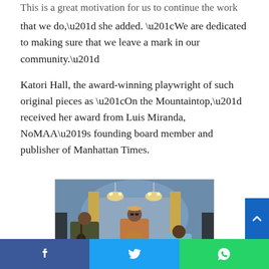This is a great motivation for us to continue the work that we do," she added. "We are dedicated to making sure that we leave a mark in our community."
Katori Hall, the award-winning playwright of such original pieces as “On the Mountaintop,” received her award from Luis Miranda, NoMAA’s founding board member and publisher of Manhattan Times.
[Figure (photo): Three musicians performing in an ornate venue. Left musician plays upright bass, center musician plays guitar and sings into a microphone, right musician appears to be seated with a drum. Chandeliers and decorative gold and blue backdrop visible.]
Share buttons: Facebook, Twitter, WhatsApp